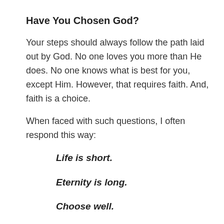Have You Chosen God?
Your steps should always follow the path laid out by God. No one loves you more than He does. No one knows what is best for you, except Him. However, that requires faith. And, faith is a choice.
When faced with such questions, I often respond this way:
Life is short.
Eternity is long.
Choose well.